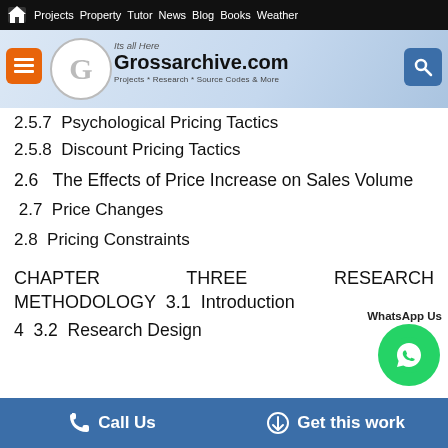Projects  Property  Tutor  News  Blog  Books  Weather
[Figure (screenshot): Grossarchive.com website header with logo, navigation menu button, and search button. Tagline: Projects * Research * Source Codes & More. Its all Here.]
2.5.7  Psychological Pricing Tactics
2.5.8  Discount Pricing Tactics
2.6   The Effects of Price Increase on Sales Volume
2.7  Price Changes
2.8  Pricing Constraints
CHAPTER THREE  RESEARCH METHODOLOGY  3.1  Introduction
4  3.2  Research Design
Call Us   Get this work   WhatsApp Us